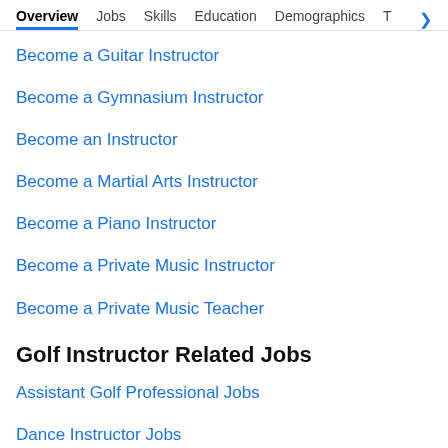Overview  Jobs  Skills  Education  Demographics  T
Become a Guitar Instructor
Become a Gymnasium Instructor
Become an Instructor
Become a Martial Arts Instructor
Become a Piano Instructor
Become a Private Music Instructor
Become a Private Music Teacher
Golf Instructor Related Jobs
Assistant Golf Professional Jobs
Dance Instructor Jobs